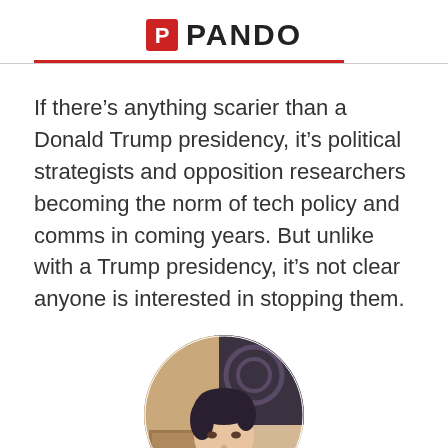PANDO
If there’s anything scarier than a Donald Trump presidency, it’s political strategists and opposition researchers becoming the norm of tech policy and comms in coming years. But unlike with a Trump presidency, it’s not clear anyone is interested in stopping them.
[Figure (photo): Circular cropped portrait photo of a woman with dark hair, in an indoor setting]